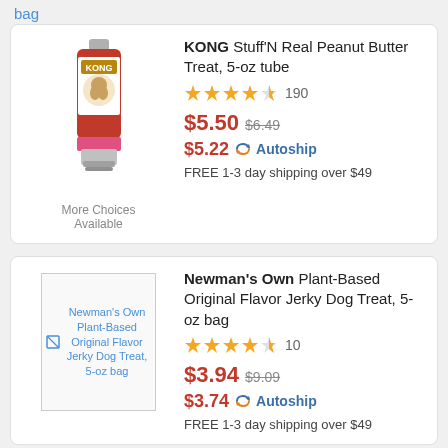bag
[Figure (photo): KONG Stuff'N Real Peanut Butter Treat 5-oz tube product image]
KONG Stuff'N Real Peanut Butter Treat, 5-oz tube | Rating: 4.5 stars, 190 reviews | $5.50 (was $6.49) | $5.22 Autoship | FREE 1-3 day shipping over $49 | More Choices Available
[Figure (photo): Newman's Own Plant-Based Original Flavor Jerky Dog Treat 5-oz bag product image (broken image placeholder)]
Newman's Own Plant-Based Original Flavor Jerky Dog Treat, 5-oz bag | Rating: 4.5 stars, 10 reviews | $3.94 (was $9.09) | $3.74 Autoship | FREE 1-3 day shipping over $49
[Figure (photo): Exclusively Dog Best Buddy Bones Peanut Butter Flavor Dog Treats product image (broken image placeholder)]
Exclusively Dog Best Buddy Bones Peanut Butter Flavor Dog Treats, 5.5-